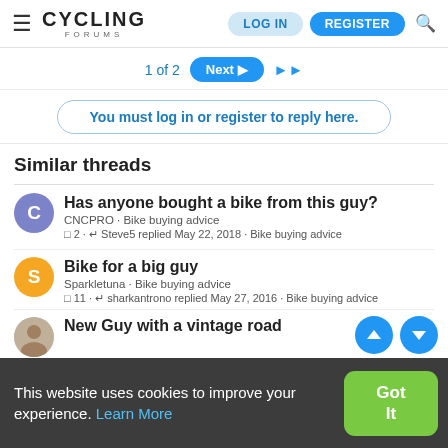Cycling Forums — LOG IN | REGISTER
1 of 2  Next ▶▶
You must log in or register to reply here.
Similar threads
Has anyone bought a bike from this guy?
CNCPRO · Bike buying advice
2 · Steve5 replied May 22, 2018 · Bike buying advice
Bike for a big guy
Sparkletuna · Bike buying advice
11 · sharkantrono replied May 27, 2016 · Bike buying advice
New Guy with a vintage road
This website uses cookies to improve your experience. Learn More  Got It